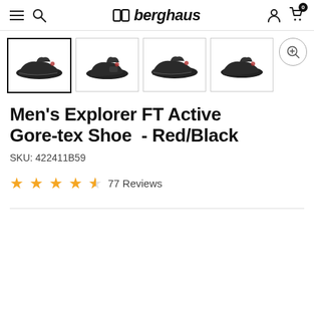Berghaus - Men's Explorer FT Active Gore-tex Shoe product page
[Figure (screenshot): Berghaus website navigation bar with hamburger menu, search icon, Berghaus logo, user account icon, and shopping cart (0 items)]
[Figure (photo): Four thumbnail images of Men's Explorer FT Active Gore-tex Shoe in Red/Black colorway shown from different angles. First thumbnail is selected with bold border.]
Men's Explorer FT Active Gore-tex Shoe  - Red/Black
SKU: 422411B59
★★★★½ 77 Reviews